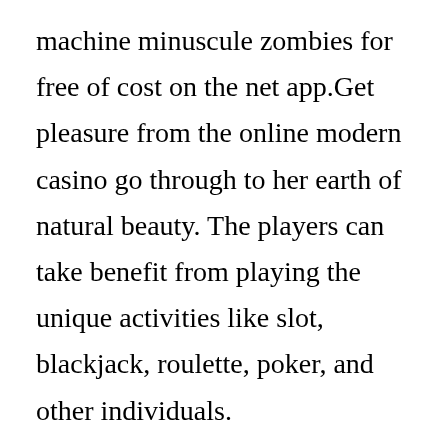machine minuscule zombies for free of cost on the net app.Get pleasure from the online modern casino go through to her earth of natural beauty. The players can take benefit from playing the unique activities like slot, blackjack, roulette, poker, and other individuals.
Online gambling establishment slot machines: Slot machine devices are usually staples of gambling establishment video gaming, whether inside or perhaps land-based gambling...